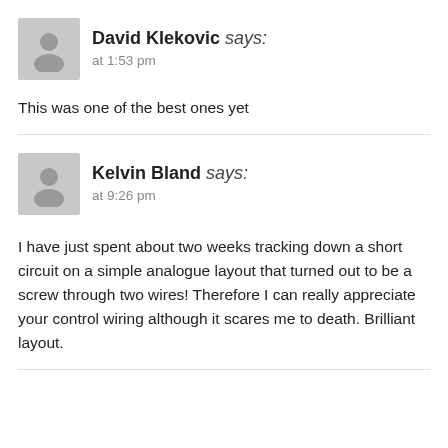David Klekovic says: at 1:53 pm
This was one of the best ones yet
Kelvin Bland says: at 9:26 pm
I have just spent about two weeks tracking down a short circuit on a simple analogue layout that turned out to be a screw through two wires! Therefore I can really appreciate your control wiring although it scares me to death. Brilliant layout.